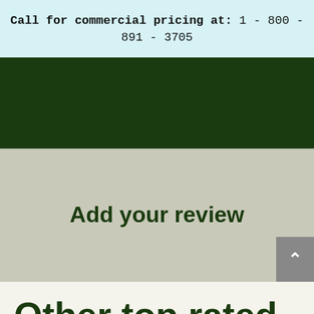Call for commercial pricing at: 1-800-891-3705
Add your review
Other top rated